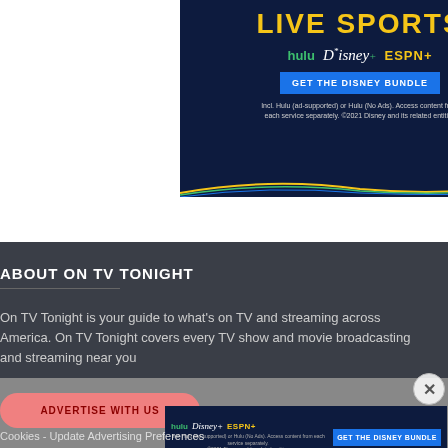[Figure (advertisement): Disney Bundle advertisement showing LIVE SPORTS headline in yellow, Hulu / Disney+ / ESPN+ logos, blue GET THE DISNEY BUNDLE button, and fine print. Dark navy background with colorful swoosh lines at bottom.]
ABOUT ON TV TONIGHT
On TV Tonight is your guide to what's on TV and streaming across America. On TV Tonight covers every TV show and movie broadcasting and streaming near you
ADVERTISE WITH US
[Figure (advertisement): Small Disney Bundle banner ad with Hulu / Disney+ / ESPN+ logos on left, GET THE DISNEY BUNDLE blue button on right, fine print below. Dark navy background.]
Cookies - Update Advertising Preferences